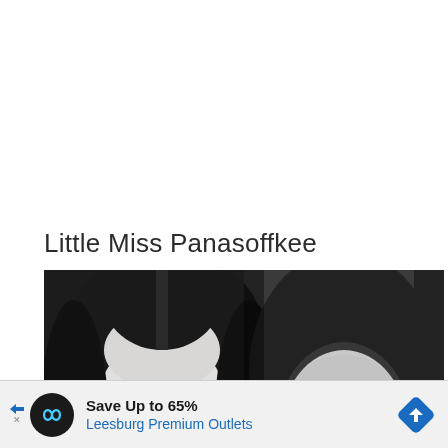Little Miss Panasoffkee
[Figure (photo): Side-by-side grayscale composite: left half shows a forensic facial reconstruction of a young female with straight dark hair parted in the middle, pale skin, and a neutral expression; right half shows a blurry black-and-white photograph of a similar young female with dark wavy hair.]
[Figure (other): Advertisement banner: Save Up to 65% Leesburg Premium Outlets, with infinity loop icon circle and blue diamond arrow icon.]